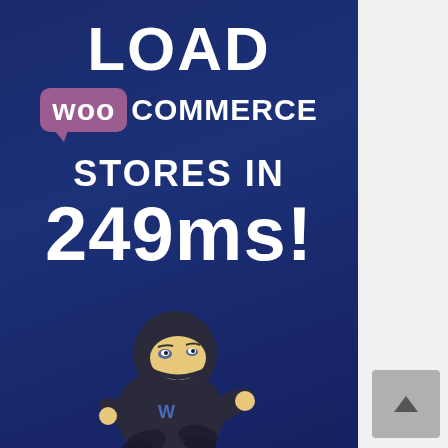[Figure (infographic): Dark navy blue promotional banner for WooCommerce hosting. Shows 'LOAD WooCommerce STORES IN 249ms!' in large white text with WooCommerce logo badge in purple. A 3D ninja mascot character wearing black outfit with 'W' on chest is running at the bottom of the banner.]